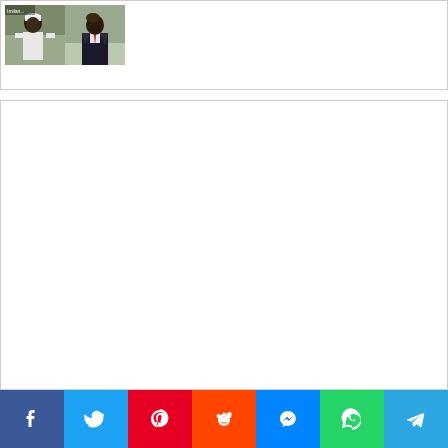[Figure (photo): Two people shown side by side in a small photo strip at top left of the card]
[Figure (other): Large white content/advertisement box]
[Figure (infographic): Social media sharing bar with Facebook, Twitter, Pinterest, Reddit, Messenger, WhatsApp, and Telegram buttons]